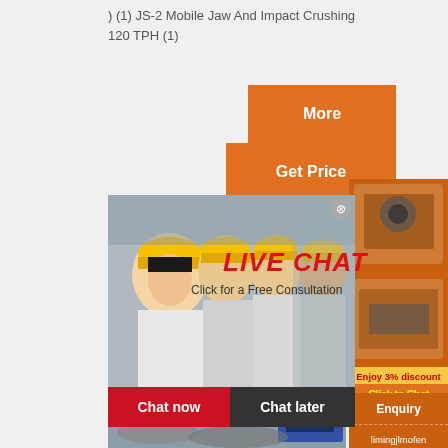) (1) JS-2 Mobile Jaw And Impact Crushing 120 TPH (1)
[Figure (other): Orange 'More' button]
[Figure (other): Orange 'Get Price' button]
[Figure (other): White 'Email contact' button]
stone?crushers?uk
[Figure (photo): Live chat overlay showing group of workers in yellow hard hats, with LIVE CHAT text and Chat now / Chat later buttons]
[Figure (photo): Right sidebar showing orange panel with crusher machinery images, Enjoy 3% discount banner, Click to Chat button, Enquiry section with limingjlmofen@sina.com]
[Figure (photo): Bottom photo of industrial conveyor belt / crushing plant machinery in mountain setting]